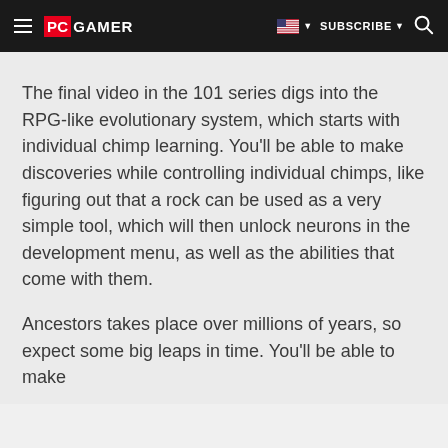PC GAMER | SUBSCRIBE
The final video in the 101 series digs into the RPG-like evolutionary system, which starts with individual chimp learning. You'll be able to make discoveries while controlling individual chimps, like figuring out that a rock can be used as a very simple tool, which will then unlock neurons in the development menu, as well as the abilities that come with them.
Ancestors takes place over millions of years, so expect some big leaps in time. You'll be able to make